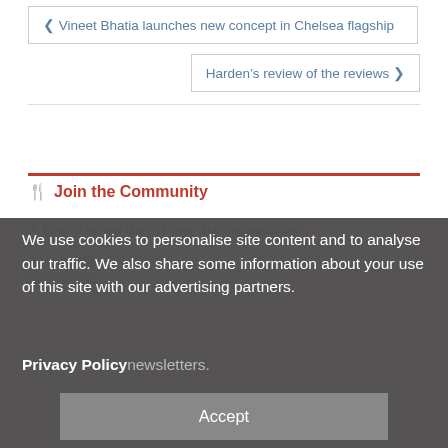❮ Vineet Bhatia launches new concept in Chelsea flagship
Harden's review of the reviews ❯
🍴 Join the Community
We use cookies to personalise site content and to analyse our traffic. We also share some information about your use of this site with our advertising partners.
Privacy Policy
Accept